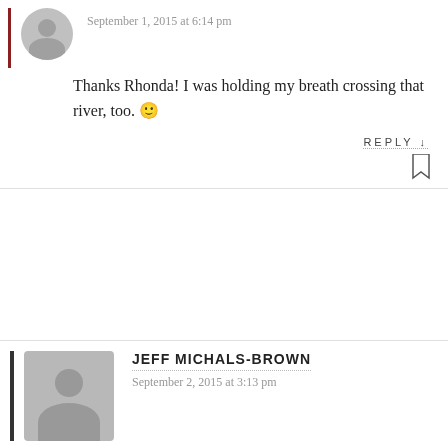September 1, 2015 at 6:14 pm
Thanks Rhonda! I was holding my breath crossing that river, too. 🙂
REPLY ↓
JEFF MICHALS-BROWN
September 2, 2015 at 3:13 pm
Wow! I almost freaked when Martin went after Holly–even though I know how the story ends. Beautifully written. One question: did you have rope? was there anything upstream you could have tied a rope to? (whoops–two questions.) I picture using it as a sort of horizontal trapeze. It might have kept you from being washed away if you fell on your way across.